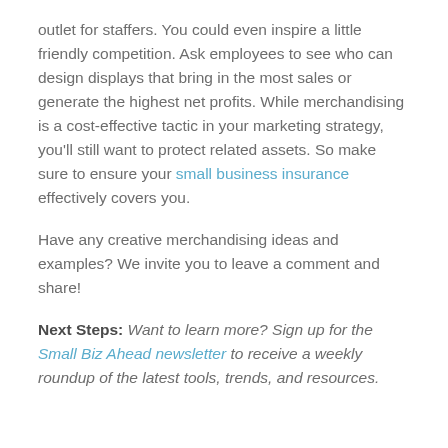outlet for staffers. You could even inspire a little friendly competition. Ask employees to see who can design displays that bring in the most sales or generate the highest net profits. While merchandising is a cost-effective tactic in your marketing strategy, you'll still want to protect related assets. So make sure to ensure your small business insurance effectively covers you.
Have any creative merchandising ideas and examples? We invite you to leave a comment and share!
Next Steps: Want to learn more? Sign up for the Small Biz Ahead newsletter to receive a weekly roundup of the latest tools, trends, and resources.